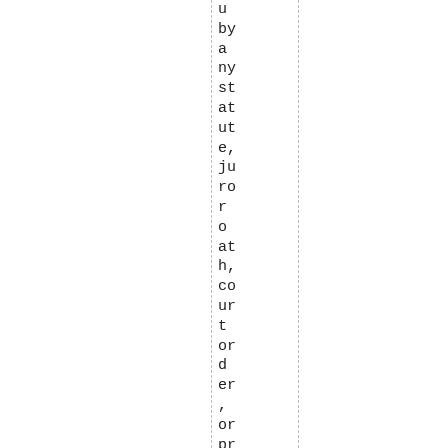u by a ny st at ut e, ju ro r o at h, co ur t or d er , or pr oc e d ur e or pr oc